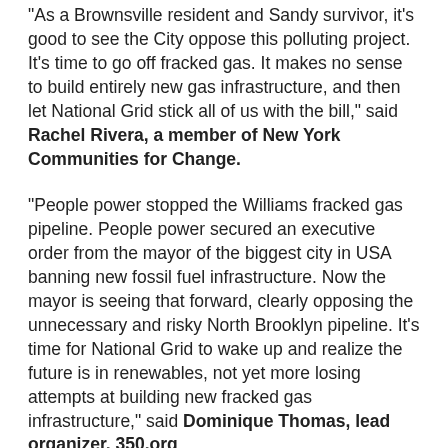“As a Brownsville resident and Sandy survivor, it’s good to see the City oppose this polluting project. It’s time to go off fracked gas. It makes no sense to build entirely new gas infrastructure, and then let National Grid stick all of us with the bill,” said Rachel Rivera, a member of New York Communities for Change.
“People power stopped the Williams fracked gas pipeline. People power secured an executive order from the mayor of the biggest city in USA banning new fossil fuel infrastructure. Now the mayor is seeing that forward, clearly opposing the unnecessary and risky North Brooklyn pipeline. It’s time for National Grid to wake up and realize the future is in renewables, not yet more losing attempts at building new fracked gas infrastructure,” said Dominique Thomas, lead organizer, 350.org.
"Throughout our history, Black and Brown communities have borne the brunt of environmental neglect and